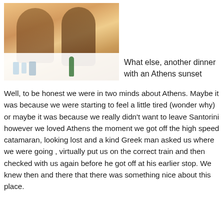[Figure (photo): Two people seated at a dinner table outdoors, with glasses and a green beer bottle on the table, warm sunset lighting in the background]
What else, another dinner with an Athens sunset
Well, to be honest we were in two minds about Athens. Maybe it was because we were starting to feel a little tired (wonder why) or maybe it was because we really didn't want to leave Santorini however we loved Athens the moment we got off the high speed catamaran, looking lost and a kind Greek man asked us where we were going , virtually put us on the correct train and then checked with us again before he got off at his earlier stop. We knew then and there that there was something nice about this place.